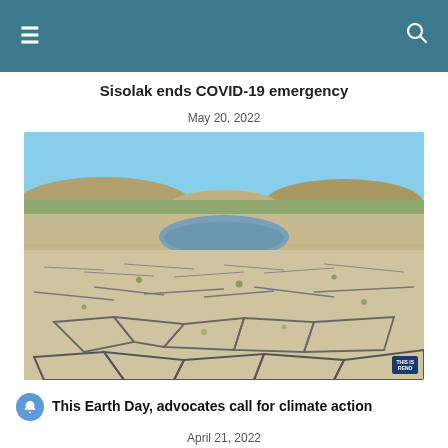≡  [navigation header]  🔍
Sisolak ends COVID-19 emergency
May 20, 2022
[Figure (photo): Dried, cracked lakebed with a small remaining pool of water in the center, surrounded by barren hills under a blue sky — illustrating severe drought conditions.]
This Earth Day, advocates call for climate action
April 21, 2022